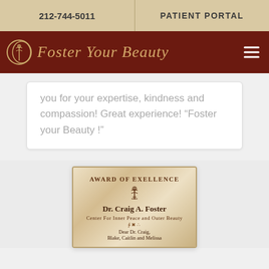212-744-5011 | PATIENT PORTAL
Foster Your Beauty
you for your expertise, kindness and compassion! Great experience! “Foster your Beauty !”
[Figure (photo): Award of Excellence plaque for Dr. Craig A. Foster, Center For Inner Peace and Outer Beauty, with caduceus emblem and text beginning 'Dear Dr. Craig, Blake, Caitlin and Melissa']